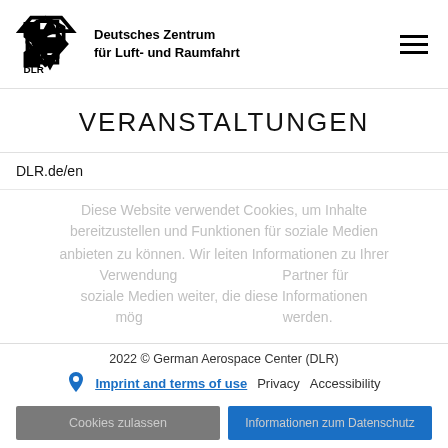[Figure (logo): DLR logo with diamond arrow shape and text 'Deutsches Zentrum für Luft- und Raumfahrt']
VERANSTALTUNGEN
DLR.de/en
Diese Website verwendet Cookies, um Inhalte bereitzustellen und Funktionen für soziale Medien anbieten zu können. Wir leiten Informationen zu Ihrer Verwendung ... Partner für soziale Medien weiter, die diese Informationen möglicherweise ... werden.
2022 © German Aerospace Center (DLR)
Imprint and terms of use | Privacy | Accessibility
Cookies zulassen | Informationen zum Datenschutz